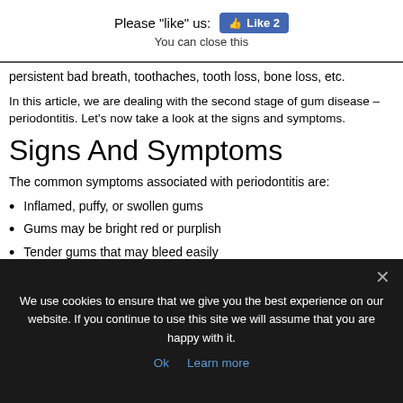Please "like" us:  [Like 2]  You can close this
persistent bad breath, toothaches, tooth loss, bone loss, etc.
In this article, we are dealing with the second stage of gum disease – periodontitis. Let's now take a look at the signs and symptoms.
Signs And Symptoms
The common symptoms associated with periodontitis are:
Inflamed, puffy, or swollen gums
Gums may be bright red or purplish
Tender gums that may bleed easily
Receding gums that can make your teeth appear longer
Increasing space between developing teeth
We use cookies to ensure that we give you the best experience on our website. If you continue to use this site we will assume that you are happy with it.
Ok  Learn more